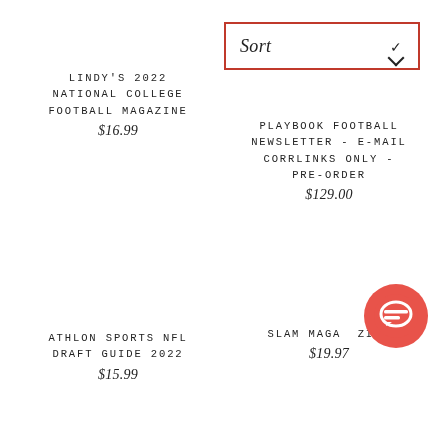[Figure (screenshot): Sort dropdown button with red border, showing 'Sort' label in italic and a chevron down arrow]
LINDY'S 2022 NATIONAL COLLEGE FOOTBALL MAGAZINE
$16.99
PLAYBOOK FOOTBALL NEWSLETTER - E-MAIL CORRLINKS ONLY - PRE-ORDER
$129.00
ATHLON SPORTS NFL DRAFT GUIDE 2022
$15.99
SLAM MAGAZINE
$19.97
[Figure (illustration): Red circular chat/message bubble icon]